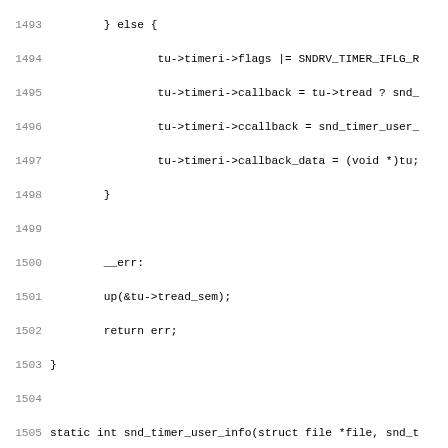[Figure (other): Source code listing in C (Linux kernel timer code), lines 1493-1524+, with line numbers on the left and monospace code on the right. Shows snd_timer_user_info function and surrounding code.]